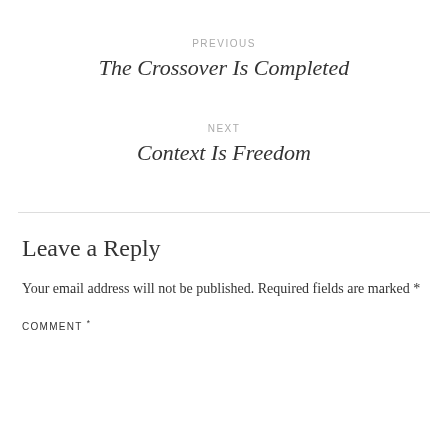PREVIOUS
The Crossover Is Completed
NEXT
Context Is Freedom
Leave a Reply
Your email address will not be published. Required fields are marked *
COMMENT *